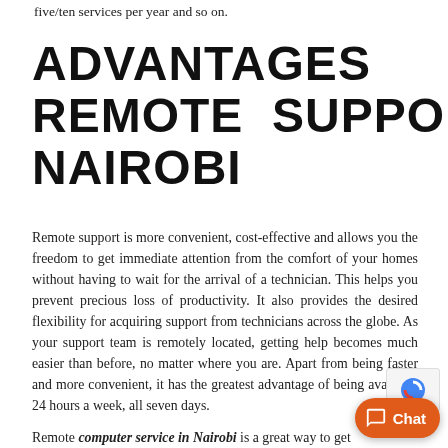five/ten services per year and so on.
ADVANTAGES OF REMOTE SUPPORT IN NAIROBI
Remote support is more convenient, cost-effective and allows you the freedom to get immediate attention from the comfort of your homes without having to wait for the arrival of a technician. This helps you prevent precious loss of productivity. It also provides the desired flexibility for acquiring support from technicians across the globe. As your support team is remotely located, getting help becomes much easier than before, no matter where you are. Apart from being faster and more convenient, it has the greatest advantage of being available 24 hours a week, all seven days.
Remote computer service in Nairobi is a great way to get